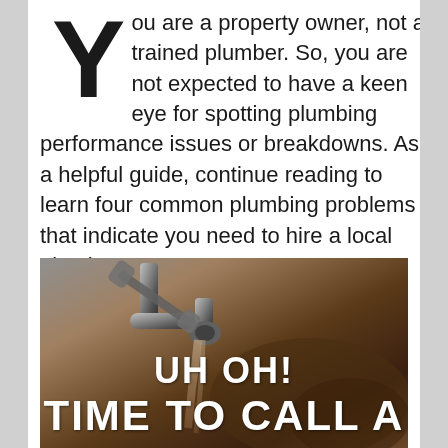You are a property owner, not a trained plumber. So, you are not expected to have a keen eye for spotting plumbing performance issues or breakdowns. As a helpful guide, continue reading to learn four common plumbing problems that indicate you need to hire a local plumber soon.
[Figure (photo): A close-up photo of a faucet with brown/murky discolored water flowing from it, with overlay text reading 'UH OH! TIME TO CALL A' in large white bold letters.]